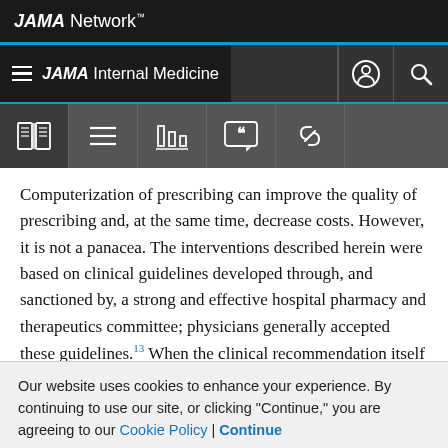JAMA Network
JAMA Internal Medicine
Computerization of prescribing can improve the quality of prescribing and, at the same time, decrease costs. However, it is not a panacea. The interventions described herein were based on clinical guidelines developed through, and sanctioned by, a strong and effective hospital pharmacy and therapeutics committee; physicians generally accepted these guidelines.13 When the clinical recommendation itself was controversial, physicians did not change orders simply because the
Our website uses cookies to enhance your experience. By continuing to use our site, or clicking "Continue," you are agreeing to our Cookie Policy | Continue